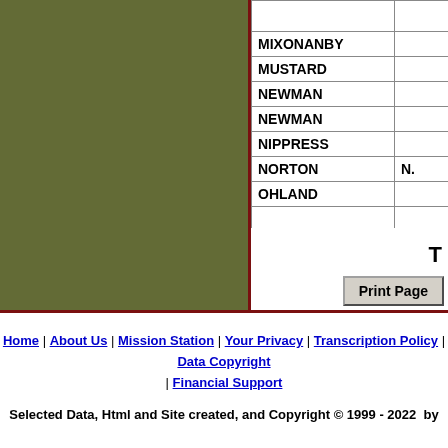| Last Name | Middle | First Name |
| --- | --- | --- |
| MIXONANBY |  | Tispah |
| MUSTARD |  | Josephu... |
| NEWMAN |  | John |
| NEWMAN |  | Henry |
| NIPPRESS |  | William... |
| NORTON | N. | Horatio... |
| OHLAND |  | Frederi... |
|  |  |  |
T
Print Page
Home | About Us | Mission Station | Your Privacy | Transcription Policy | Data Copyright | Financial Support
Selected Data, Html and Site created, and Copyright © 1999 - 2022 by